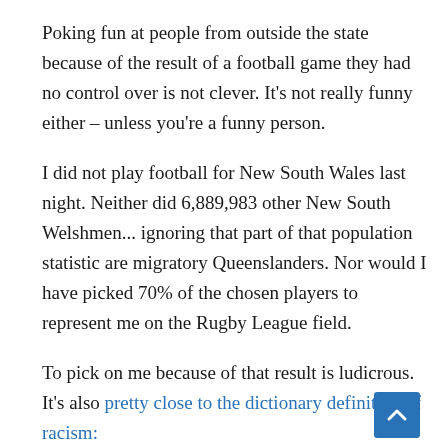Poking fun at people from outside the state because of the result of a football game they had no control over is not clever. It's not really funny either – unless you're a funny person.
I did not play football for New South Wales last night. Neither did 6,889,983 other New South Welshmen... ignoring that part of that population statistic are migratory Queenslanders. Nor would I have picked 70% of the chosen players to represent me on the Rugby League field.
To pick on me because of that result is ludicrous. It's also pretty close to the dictionary definition of racism:
1. The belief that race accounts for differences in human character or ability and that a particular race is superior to